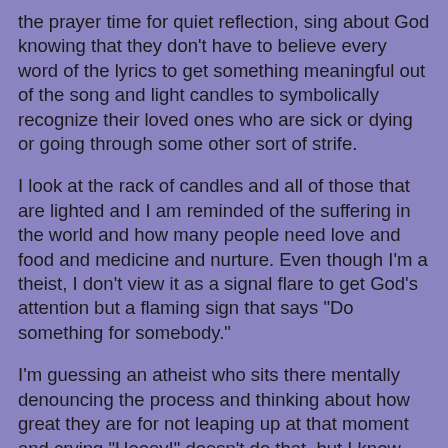the prayer time for quiet reflection, sing about God knowing that they don't have to believe every word of the lyrics to get something meaningful out of the song and light candles to symbolically recognize their loved ones who are sick or dying or going through some other sort of strife.
I look at the rack of candles and all of those that are lighted and I am reminded of the suffering in the world and how many people need love and food and medicine and nurture. Even though I'm a theist, I don't view it as a signal flare to get God's attention but a flaming sign that says "Do something for somebody."
I'm guessing an atheist who sits there mentally denouncing the process and thinking about how great they are for not leaping up at that moment and crying "Hooey!" doesn't do that, but I know plenty of atheists who light candles right along with the theists.
Anyway, I've just touched on a bit of the diversity I see, but I think it is important to keep in mind that the people who speak loudest in a movement are often not in the majority